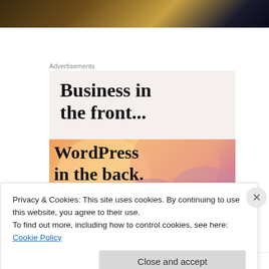[Figure (photo): Blurry dark image at the top of the page, brownish-dark tones]
Advertisements
[Figure (illustration): Advertisement banner: top half light beige background with text 'Business in the front...' in bold serif font; bottom half colorful gradient (orange, peach, pink, mauve) with overlapping circles and text 'WordPress in the back.' in bold serif font]
Privacy & Cookies: This site uses cookies. By continuing to use this website, you agree to their use.
To find out more, including how to control cookies, see here: Cookie Policy
Close and accept
Follow